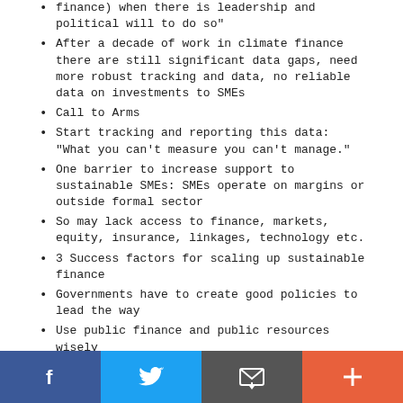finance) when there is leadership and political will to do so
After a decade of work in climate finance there are still significant data gaps, need more robust tracking and data, no reliable data on investments to SMEs
Call to Arms
Start tracking and reporting this data: "What you can't measure you can't manage."
One barrier to increase support to sustainable SMEs: SMEs operate on margins or outside formal sector
So may lack access to finance, markets, equity, insurance, linkages, technology etc.
3 Success factors for scaling up sustainable finance
Governments have to create good policies to lead the way
Use public finance and public resources wisely
Entire financial system needs to mainstream this into their operations
All of these together can mobilize climate finance to SMEs, and supporting SMEs to move to more sustainable and resilient sectors
Related to
[Figure (other): Social share bar with Facebook, Twitter, Email, and add (+) buttons]